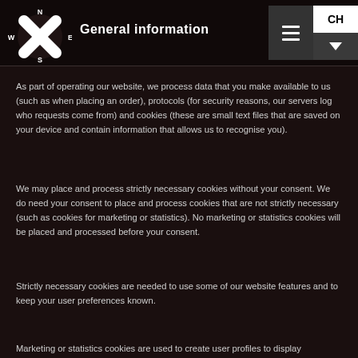General information
As part of operating our website, we process data that you make available to us (such as when placing an order), protocols (for security reasons, our servers log who requests come from) and cookies (these are small text files that are saved on your device and contain information that allows us to recognise you).
We may place and process strictly necessary cookies without your consent. We do need your consent to place and process cookies that are not strictly necessary (such as cookies for marketing or statistics). No marketing or statistics cookies will be placed and processed before your consent.
Strictly necessary cookies are needed to use some of our website features and to keep your user preferences known.
Marketing or statistics cookies are used to create user profiles to display